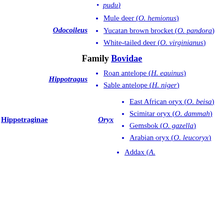pudu)
Mule deer (O. hemionus)
Yucatan brown brocket (O. pandora)
White-tailed deer (O. virginianus)
Family Bovidae
Roan antelope (H. equinus)
Sable antelope (H. niger)
East African oryx (O. beisa)
Scimitar oryx (O. dammah)
Gemsbok (O. gazella)
Arabian oryx (O. leucoryx)
Addax (A.